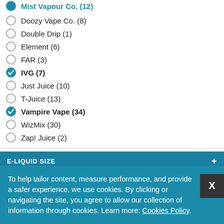Doozy Vape Co. (8)
Double Drip (1)
Element (6)
FAR (3)
IVG (7) [checked]
Just Juice (10)
T-Juice (13)
Vampire Vape (34) [checked]
WizMix (30)
Zap! Juice (2)
E-LIQUID SIZE +
E-LIQUID FLAVOUR TYPE -
To help tailor content, measure performance, and provide a safer experience, we use cookies. By clicking or navigating the site, you agree to allow our collection of information through cookies. Learn more: Cookies Policy.